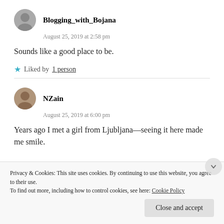Blogging_with_Bojana
August 25, 2019 at 2:58 pm
Sounds like a good place to be.
Liked by 1 person
NZain
August 25, 2019 at 6:00 pm
Years ago I met a girl from Ljubljana—seeing it here made me smile.
Privacy & Cookies: This site uses cookies. By continuing to use this website, you agree to their use. To find out more, including how to control cookies, see here: Cookie Policy